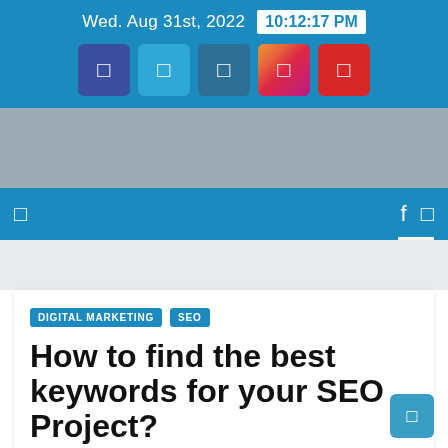Wed. Aug 31st, 2022  10:12:17 PM
[Figure (screenshot): Social media icons row: Facebook, Twitter, LinkedIn, Instagram, YouTube]
[Figure (screenshot): Gray advertisement banner placeholder]
[Figure (screenshot): Blue navigation bar with hamburger menu icon on left, search and menu icons on right]
DIGITAL MARKETING   SEO
How to find the best keywords for your SEO Project?